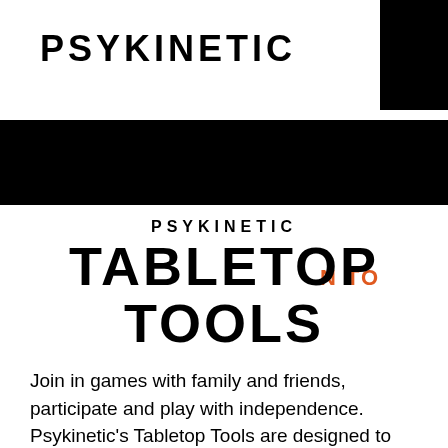PSYKINETIC
[Figure (other): Black rectangle in top-right corner of header]
[Figure (other): Black navigation bar with hamburger menu icon and partial orange text 'N TO']
PSYKINETIC TABLETOP TOOLS
Join in games with family and friends, participate and play with independence.  Psykinetic's Tabletop Tools are designed to empower players of all ages to roll a dice, flip a coin, set a timer, and throw a hand in scissors, paper, rock.
Available now on StarGaze >